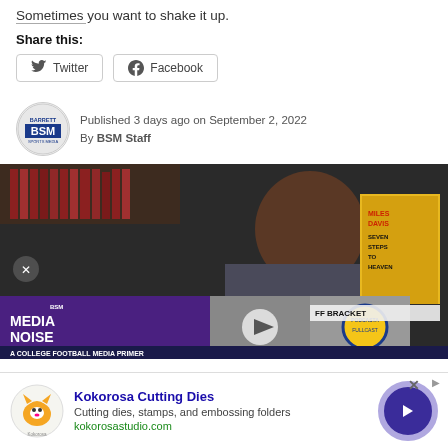Sometimes you want to shake it up.
Share this:
Twitter
Facebook
Published 3 days ago on September 2, 2022
By BSM Staff
[Figure (screenshot): Video player screenshot showing a Black male host with bookshelf background. Overlaid thumbnails show BSM Media Noise podcast logo, group photos, a play button, a circular podcast logo, and text 'FF BRACKET'. Bottom banner reads 'A COLLEGE FOOTBALL MEDIA PRIMER' and 'MILES DAVIS SEVEN STEPS TO HEAVEN' album visible in background.]
[Figure (infographic): Advertisement for Kokorosa Cutting Dies featuring fox logo, title 'Kokorosa Cutting Dies', description 'Cutting dies, stamps, and embossing folders', URL kokorosastudio.com, and a blue arrow button.]